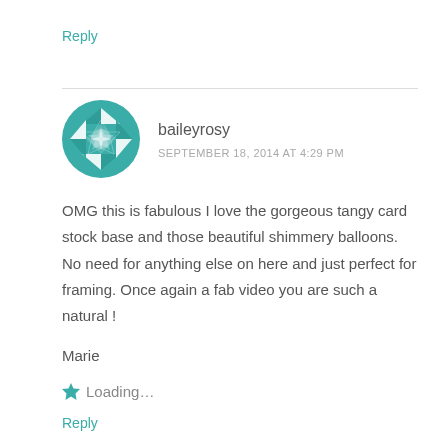Reply
[Figure (illustration): Teal geometric quilt-pattern circular avatar for user baileyrosy]
baileyrosy
SEPTEMBER 18, 2014 AT 4:29 PM
OMG this is fabulous I love the gorgeous tangy card stock base and those beautiful shimmery balloons. No need for anything else on here and just perfect for framing. Once again a fab video you are such a natural !
Marie
Loading...
Reply